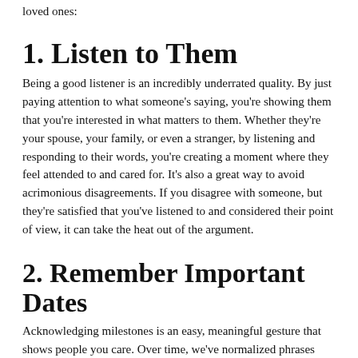loved ones:
1. Listen to Them
Being a good listener is an incredibly underrated quality. By just paying attention to what someone's saying, you're showing them that you're interested in what matters to them. Whether they're your spouse, your family, or even a stranger, by listening and responding to their words, you're creating a moment where they feel attended to and cared for. It's also a great way to avoid acrimonious disagreements. If you disagree with someone, but they're satisfied that you've listened to and considered their point of view, it can take the heat out of the argument.
2. Remember Important Dates
Acknowledging milestones is an easy, meaningful gesture that shows people you care. Over time, we've normalized phrases